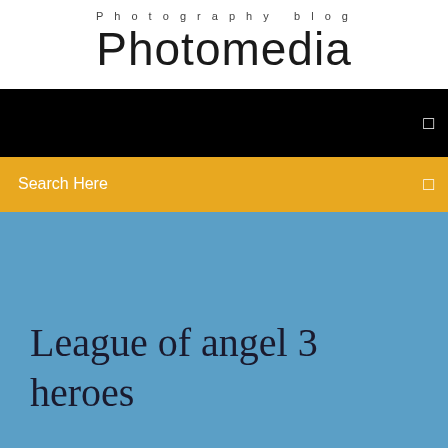Photography blog
Photomedia
[Figure (other): Black navigation bar with a small white square icon on the right]
[Figure (other): Golden/amber search bar with 'Search Here' text on the left and a small white square icon on the right]
League of angel 3 heroes